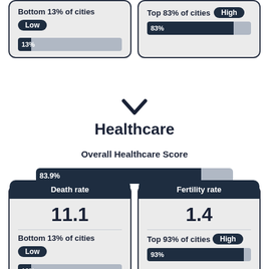[Figure (infographic): Top-left card: Bottom 13% of cities, Low badge, 13% progress bar]
[Figure (infographic): Top-right card: Top 83% of cities, High badge, 83% progress bar]
[Figure (infographic): Downward chevron arrow]
Healthcare
Overall Healthcare Score
[Figure (bar-chart): Overall Healthcare Score]
[Figure (infographic): Bottom-left card: Death rate 11.1, Bottom 13% of cities, Low badge, 13% bar]
[Figure (infographic): Bottom-right card: Fertility rate 1.4, Top 93% of cities, High badge, 93% bar]